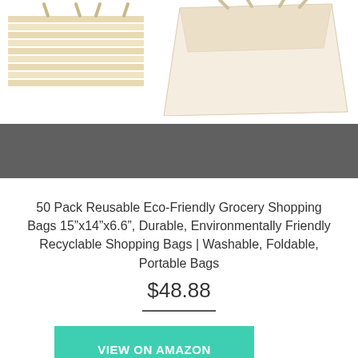[Figure (photo): Product photo showing two beige/cream reusable grocery shopping bags made of fabric]
50 Pack Reusable Eco-Friendly Grocery Shopping Bags 15”x14”x6.6”, Durable, Environmentally Friendly Recyclable Shopping Bags | Washable, Foldable, Portable Bags
$48.88
VIEW ON AMAZON